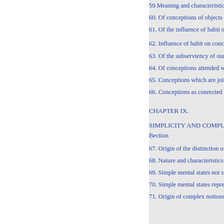59 Meaning and characteristics o
60. Of conceptions of objects of
61. Of the influence of habit on c
62. Influence of habit on concept
63. Of the subserviency of our co
64. Of conceptions attended with
65. Conceptions which are joined
66. Conceptions as conrected wi
CHAPTER IX.
SIMPLICITY AND COMPLEXI
Bection
67. Origin of the distinction of si
68. Nature and characteristics of
69. Simple mental states not susc
70. Simple mental states represen
71. Origin of complex notions, a